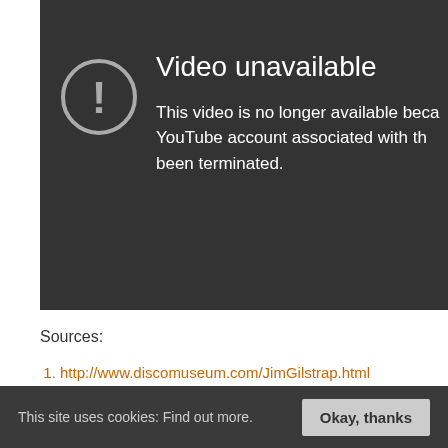[Figure (screenshot): YouTube video unavailable error screen on dark background. Shows a circular exclamation mark icon on the left and text 'Video unavailable' as heading with body text 'This video is no longer available beca... YouTube account associated with th... been terminated.']
Sources:
http://www.discomuseum.com/JimGilstrap.html
http://www.soulwalking.co.uk/Jim%20Gilstrap.html
This site uses cookies: Find out more. Okay, thanks